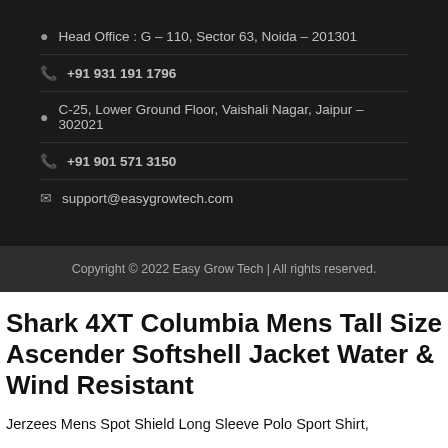Head Office : G – 110, Sector 63, Noida – 201301
+91 931 191 1796
C-25, Lower Ground Floor, Vaishali Nagar, Jaipur – 302021
+91 901 571 3150
support@easygrowtech.com
Copyright © 2022 Easy Grow Tech | All rights reserved.
Shark 4XT Columbia Mens Tall Size Ascender Softshell Jacket Water & Wind Resistant
Jerzees Mens Spot Shield Long Sleeve Polo Sport Shirt,